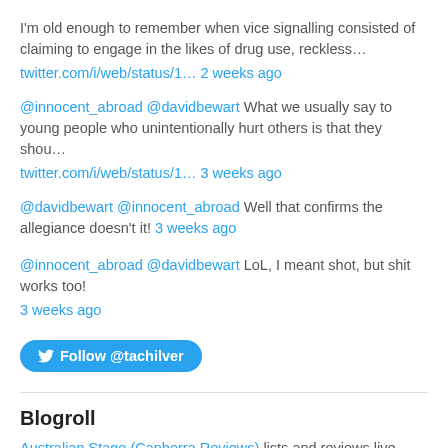I'm old enough to remember when vice signalling consisted of claiming to engage in the likes of drug use, reckless… twitter.com/i/web/status/1… 2 weeks ago
@innocent_abroad @davidbewart What we usually say to young people who unintentionally hurt others is that they shou… twitter.com/i/web/status/1… 3 weeks ago
@davidbewart @innocent_abroad Well that confirms the allegiance doesn't it! 3 weeks ago
@innocent_abroad @davidbewart LoL, I meant shot, but shit works too! 3 weeks ago
[Figure (other): Follow @tachilver button (Twitter/X follow button in blue)]
Blogroll
Australian Stage (Canberra Reviews) lists and reviews live shows in all Australian capitals.